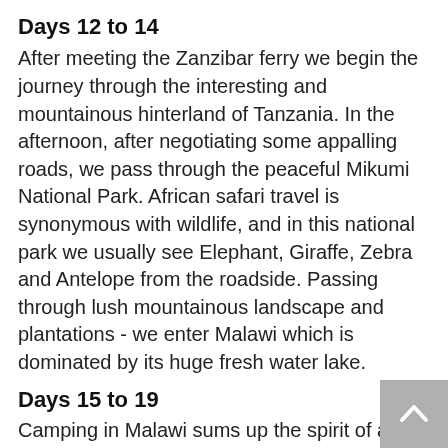Days 12 to 14
After meeting the Zanzibar ferry we begin the journey through the interesting and mountainous hinterland of Tanzania. In the afternoon, after negotiating some appalling roads, we pass through the peaceful Mikumi National Park. African safari travel is synonymous with wildlife, and in this national park we usually see Elephant, Giraffe, Zebra and Antelope from the roadside. Passing through lush mountainous landscape and plantations - we enter Malawi which is dominated by its huge fresh water lake.
Days 15 to 19
Camping in Malawi sums up the spirit of an